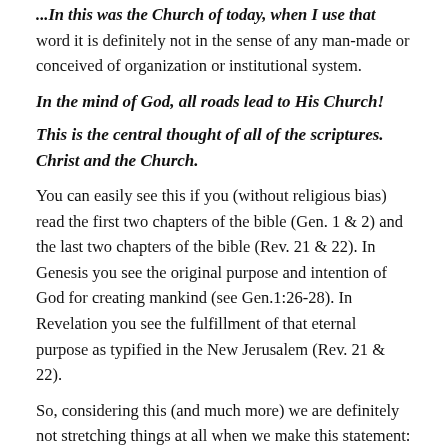...In this was the Church of today, when I use that word it is definitely not in the sense of any man-made or conceived of organization or institutional system.
In the mind of God, all roads lead to His Church!
This is the central thought of all of the scriptures. Christ and the Church.
You can easily see this if you (without religious bias) read the first two chapters of the bible (Gen. 1 & 2) and the last two chapters of the bible (Rev. 21 & 22). In Genesis you see the original purpose and intention of God for creating mankind (see Gen.1:26-28). In Revelation you see the fulfillment of that eternal purpose as typified in the New Jerusalem (Rev. 21 & 22).
So, considering this (and much more) we are definitely not stretching things at all when we make this statement: God's goal is to build His Church...